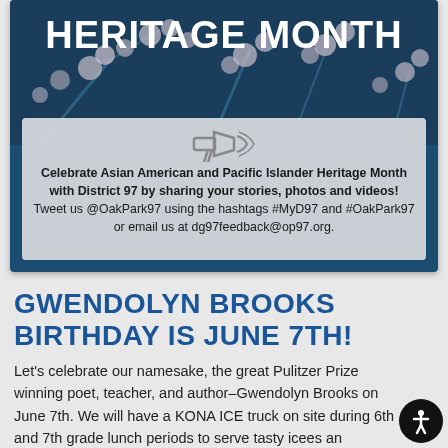[Figure (photo): Dark navy blue banner with 'HERITAGE MONTH' text and cherry blossom flowers in the background]
HERITAGE MONTH
Celebrate Asian American and Pacific Islander Heritage Month with District 97 by sharing your stories, photos and videos! Tweet us @OakPark97 using the hashtags #MyD97 and #OakPark97 or email us at dg97feedback@op97.org.
GWENDOLYN BROOKS BIRTHDAY IS JUNE 7TH!
Let's celebrate our namesake, the great Pulitzer Prize winning poet, teacher, and author–Gwendolyn Brooks on June 7th. We will have a KONA ICE truck on site during 6th and 7th grade lunch periods to serve tasty icees an